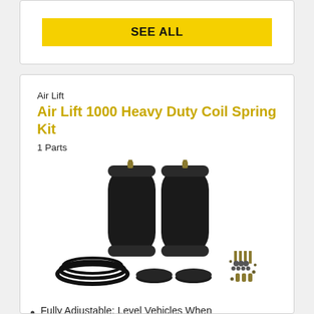SEE ALL
Air Lift
Air Lift 1000 Heavy Duty Coil Spring Kit
1 Parts
[Figure (photo): Air Lift 1000 Heavy Duty Coil Spring Kit product photo showing two large black cylindrical air springs, black tubing coil, mounting discs, hardware bag, and fittings.]
Fully Adjustable; Level Vehicles When Towing/Hauling
Provides A Safe, Comfortable Ride